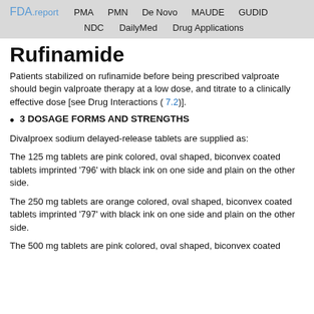FDA.report  PMA  PMN  De Novo  MAUDE  GUDID  NDC  DailyMed  Drug Applications
Rufinamide
Patients stabilized on rufinamide before being prescribed valproate should begin valproate therapy at a low dose, and titrate to a clinically effective dose [see Drug Interactions ( 7.2)].
3 DOSAGE FORMS AND STRENGTHS
Divalproex sodium delayed-release tablets are supplied as:
The 125 mg tablets are pink colored, oval shaped, biconvex coated tablets imprinted ‘796’ with black ink on one side and plain on the other side.
The 250 mg tablets are orange colored, oval shaped, biconvex coated tablets imprinted ‘797’ with black ink on one side and plain on the other side.
The 500 mg tablets are pink colored, oval shaped, biconvex coated